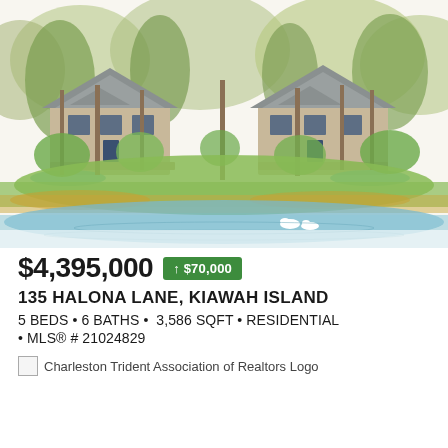[Figure (illustration): Architectural watercolor illustration of two craftsman-style houses on Kiawah Island surrounded by tall trees, lush greenery, pools, and a lagoon with swans in the foreground.]
$4,395,000 ↑ $70,000
135 HALONA LANE, KIAWAH ISLAND
5 BEDS • 6 BATHS • 3,586 SQFT • RESIDENTIAL • MLS® # 21024829
[Figure (logo): Charleston Trident Association of Realtors Logo]